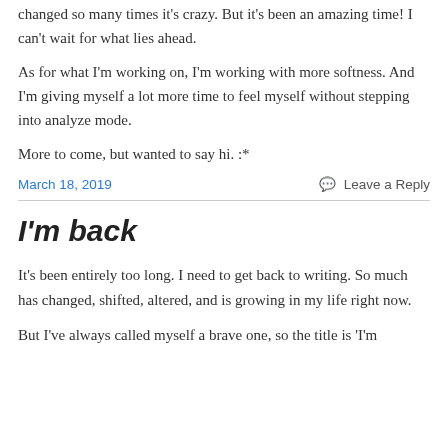changed so many times it's crazy.  But it's been an amazing time!  I can't wait for what lies ahead.
As for what I'm working on, I'm working with more softness.  And I'm giving myself a lot more time to feel myself without stepping into analyze mode.
More to come, but wanted to say hi.  :*
March 18, 2019    Leave a Reply
I'm back
It's been entirely too long.  I need to get back to writing.  So much has changed, shifted, altered, and is growing in my life right now.
But I've always called myself a brave one, so the title is 'I'm...